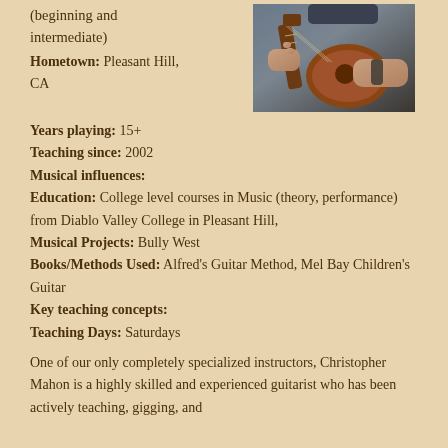(beginning and intermediate)
[Figure (photo): Person playing acoustic guitar, hands visible on fretboard and strings]
Hometown: Pleasant Hill, CA
Years playing: 15+
Teaching since: 2002
Musical influences:
Education: College level courses in Music (theory, performance) from Diablo Valley College in Pleasant Hill,
Musical Projects: Bully West
Books/Methods Used: Alfred's Guitar Method, Mel Bay Children's Guitar
Key teaching concepts:
Teaching Days: Saturdays
One of our only completely specialized instructors, Christopher Mahon is a highly skilled and experienced guitarist who has been actively teaching, gigging, and